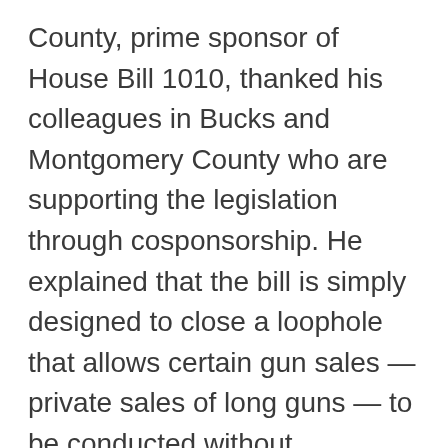County, prime sponsor of House Bill 1010, thanked his colleagues in Bucks and Montgomery County who are supporting the legislation through cosponsorship. He explained that the bill is simply designed to close a loophole that allows certain gun sales — private sales of long guns — to be conducted without background checks.
Long guns are disproportionately used by domestic abusers against women and by criminals against police officers. The facts demonstrate that background checks work to keep guns out of the hands of those who should not have them. The